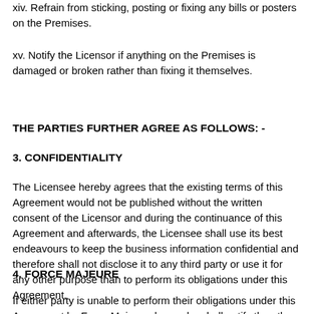xiv. Refrain from sticking, posting or fixing any bills or posters on the Premises.
xv. Notify the Licensor if anything on the Premises is damaged or broken rather than fixing it themselves.
THE PARTIES FURTHER AGREE AS FOLLOWS: -
3. CONFIDENTIALITY
The Licensee hereby agrees that the existing terms of this Agreement would not be published without the written consent of the Licensor and during the continuance of this Agreement and afterwards, the Licensee shall use its best endeavours to keep the business information confidential and therefore shall not disclose it to any third party or use it for any other purpose than to perform its obligations under this Agreement.
4. FORCE MAJEURE
If either party is unable to perform their obligations under this Agreement by Force Majeure, he or she shall notify the other